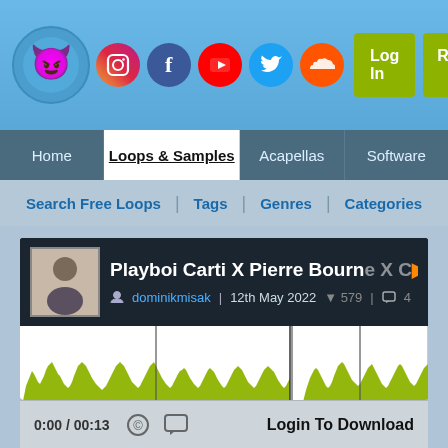Playboi Carti X Pierre Bourne X Cochise - website header with logo, social icons, Log In, Register buttons, navigation: Home, Loops & Samples, Acapellas, Software, Search Free Loops | Tags | Genres | Categories
[Figure (screenshot): Audio loop player showing waveform for 'Playboi Carti X Pierre Bourne X Cochise' by dominikmisak, uploaded 12th May 2022, 579 downloads, 4 comments, duration 0:00/00:13]
dominikmisak | 12th May 2022 ▼ 579 ▐ 4
0:00 / 00:13   Login To Download